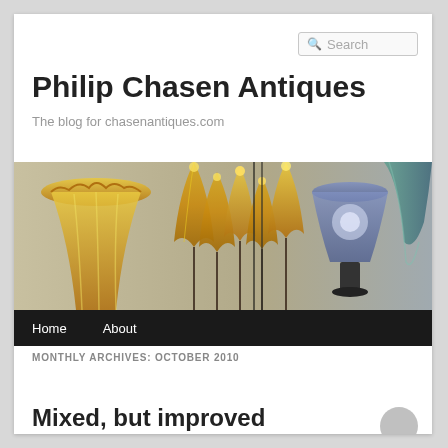Search
Philip Chasen Antiques
The blog for chasenantiques.com
[Figure (photo): Banner image showing decorative antique lamps and glass art pieces including lily-shaped art glass lamps in gold/amber tones and a blue lamp shade]
Home   About
MONTHLY ARCHIVES: OCTOBER 2010
Mixed, but improved